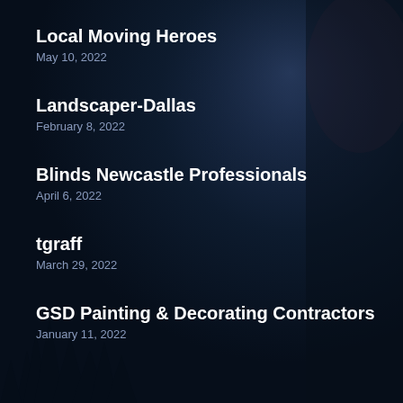Local Moving Heroes
May 10, 2022
Landscaper-Dallas
February 8, 2022
Blinds Newcastle Professionals
April 6, 2022
tgraff
March 29, 2022
GSD Painting & Decorating Contractors
January 11, 2022